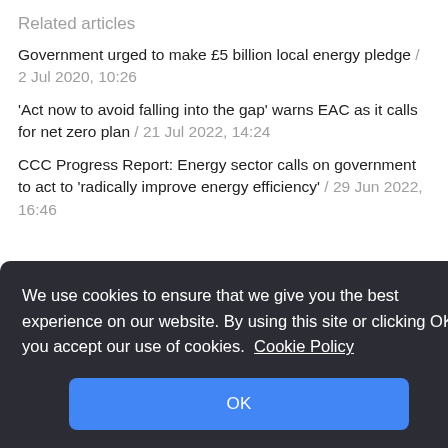Related articles
Government urged to make £5 billion local energy pledge / 2 Jul 2020, 10:26
'Act now to avoid falling into the gap' warns EAC as it calls for net zero plan / 21 Jul 2022, 14:24
CCC Progress Report: Energy sector calls on government to act to 'radically improve energy efficiency' / 29 Jun 2022, 16:46
We use cookies to ensure that we give you the best experience on our website. By using this site or clicking OK you accept our use of cookies.  Cookie Policy

OK